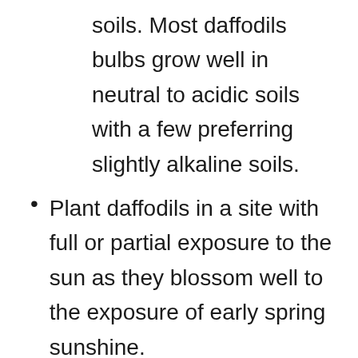soils. Most daffodils bulbs grow well in neutral to acidic soils with a few preferring slightly alkaline soils.
Plant daffodils in a site with full or partial exposure to the sun as they blossom well to the exposure of early spring sunshine.
Care for Narcissus Plants?
Apply a high-potash and low-nitrogen, organic fertilizer if the